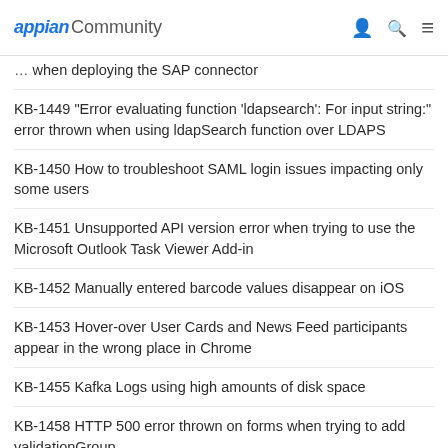appian Community
when deploying the SAP connector
KB-1449 "Error evaluating function 'ldapsearch': For input string:" error thrown when using ldapSearch function over LDAPS
KB-1450 How to troubleshoot SAML login issues impacting only some users
KB-1451 Unsupported API version error when trying to use the Microsoft Outlook Task Viewer Add-in
KB-1452 Manually entered barcode values disappear on iOS
KB-1453 Hover-over User Cards and News Feed participants appear in the wrong place in Chrome
KB-1455 Kafka Logs using high amounts of disk space
KB-1458 HTTP 500 error thrown on forms when trying to add validationGroup
KB-1459 How to update the Service Provider signing certificate in the Administration Console
KB-1460 ADFS replies with status code "responder" when trying to authenticate
KB-1461 How to update SAML configurations for use with a new IDP signing certificate
KB-1462 How to create initial user accounts on Appian Cloud sites
KB-1463 How to reset all passwords after updating Appian's